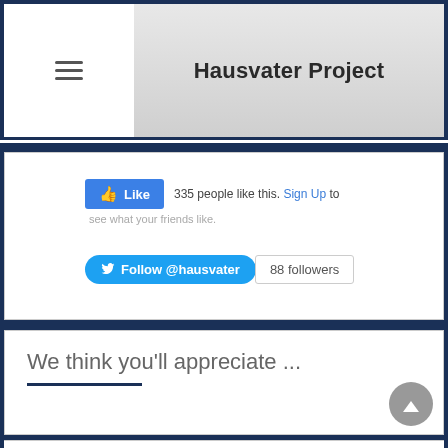Hausvater Project
[Figure (screenshot): Facebook Like widget: Like button with '335 people like this. Sign Up to see what your friends like.']
[Figure (screenshot): Twitter Follow widget: 'Follow @hausvater' button with '88 followers' count badge.]
We think you'll appreciate ...